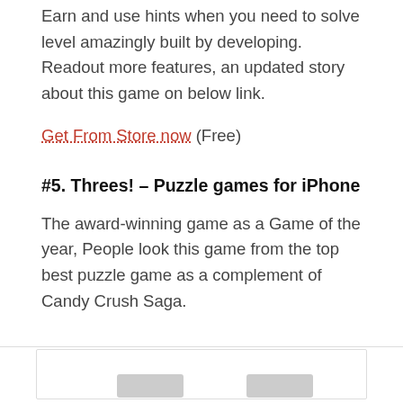Earn and use hints when you need to solve level amazingly built by developing. Readout more features, an updated story about this game on below link.
Get From Store now (Free)
#5. Threes! – Puzzle games for iPhone
The award-winning game as a Game of the year, People look this game from the top best puzzle game as a complement of Candy Crush Saga.